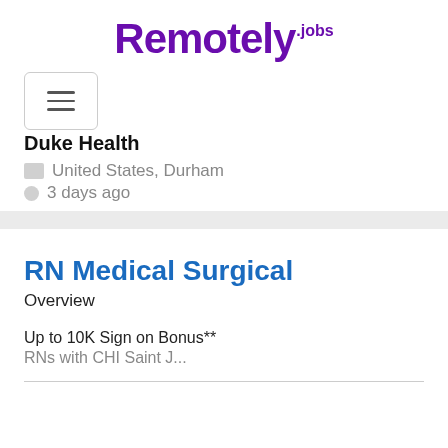Remotely.jobs
[Figure (other): Hamburger menu button with three horizontal lines, bordered box]
Duke Health
🏢 United States, Durham
🕐 3 days ago
RN Medical Surgical
Overview
Up to 10K Sign on Bonus**
RNs with CHI Saint J...